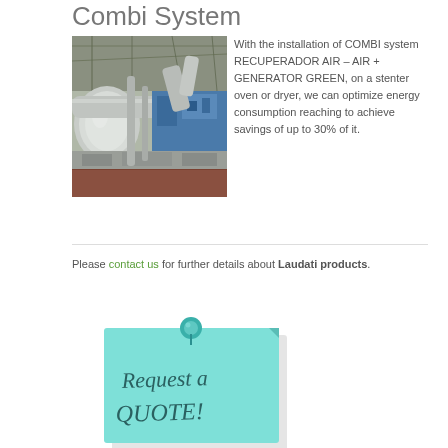Combi System
[Figure (photo): Industrial stenter oven or dryer equipment in a factory setting, showing large silver ducts and blue machinery.]
With the installation of COMBI system RECUPERADOR AIR – AIR + GENERATOR GREEN, on a stenter oven or dryer, we can optimize energy consumption reaching to achieve savings of up to 30% of it.
Please contact us for further details about Laudati products.
[Figure (illustration): A cyan/turquoise sticky note pinned with a teal thumbtack, with handwritten text reading 'Request a QUOTE!']